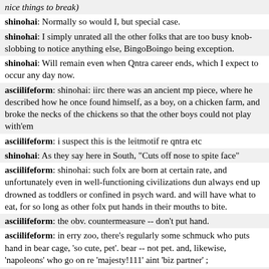nice things to break)
shinohai: Normally so would I, but special case.
shinohai: I simply unrated all the other folks that are too busy knob-slobbing to notice anything else, BingoBoingo being exception.
shinohai: Will remain even when Qntra career ends, which I expect to occur any day now.
asciilifeform: shinohai: iirc there was an ancient mp piece, where he described how he once found himself, as a boy, on a chicken farm, and broke the necks of the chickens so that the other boys could not play with'em
asciilifeform: i suspect this is the leitmotif re qntra etc
shinohai: As they say here in South, "Cuts off nose to spite face"
asciilifeform: shinohai: such folx are born at certain rate, and unfortunately even in well-functioning civilizations dun always end up drowned as toddlers or confined in psych ward. and will have what to eat, for so long as other folx put hands in their mouths to bite.
asciilifeform: the obv. countermeasure -- don't put hand.
asciilifeform: in erry zoo, there's regularly some schmuck who puts hand in bear cage, 'so cute, pet'. bear -- not pet. and, likewise, 'napoleons' who go on re 'majesty!111' aint 'biz partner' ;
asciilifeform: even if initially (is how diseases progress) start out 'high-functioning napoleon' where actually rewards collaborators, a la mussolini's 'for us -- everything, for the rest -- the law'(tm)(r)